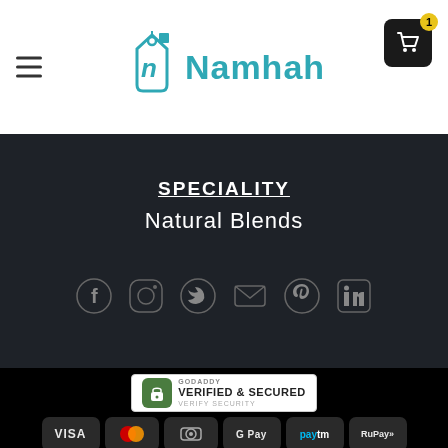Namhah
SPECIALITY
Natural Blends
[Figure (infographic): Social media icons row: Facebook, Instagram, Twitter, Email, Pinterest, LinkedIn]
[Figure (infographic): GoDaddy Verified & Secured badge]
[Figure (infographic): Payment method icons: VISA, MasterCard, card icon, Google Pay, Paytm, RuPay]
ABOUT US   PRODUCTS   GIFTING   BLOG   CONTACT US